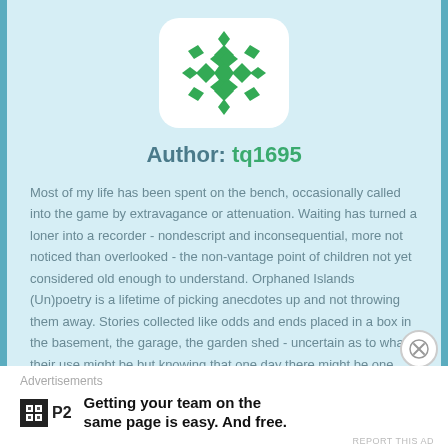[Figure (illustration): Green geometric snowflake/quilt pattern logo on white rounded square background]
Author: tq1695
Most of my life has been spent on the bench, occasionally called into the game by extravagance or attenuation. Waiting has turned a loner into a recorder - nondescript and inconsequential, more not noticed than overlooked - the non-vantage point of children not yet considered old enough to understand. Orphaned Islands (Un)poetry is a lifetime of picking anecdotes up and not throwing them away. Stories collected like odds and ends placed in a box in the basement, the garage, the garden shed - uncertain as to what their use might be but knowing that one day there might be one.
VIEW ALL POSTS
Advertisements
Getting your team on the same page is easy. And free.